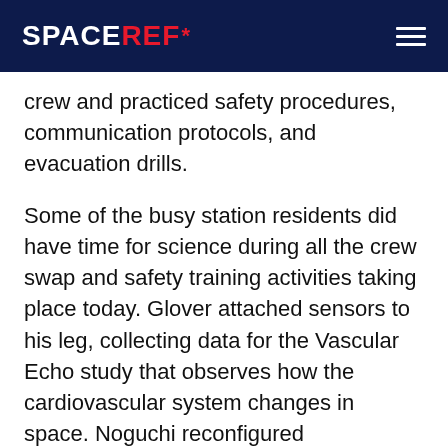SPACEREF*
crew and practiced safety procedures, communication protocols, and evacuation drills.
Some of the busy station residents did have time for science during all the crew swap and safety training activities taking place today. Glover attached sensors to his leg, collecting data for the Vascular Echo study that observes how the cardiovascular system changes in space. Noguchi reconfigured components inside the Cell Biology Experiment Facility, an artificial gravity